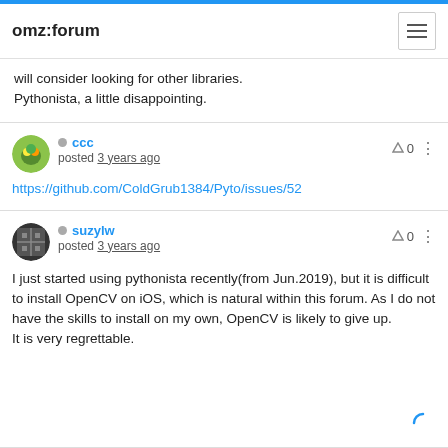omz:forum
will consider looking for other libraries.
Pythonista, a little disappointing.
ccc
posted 3 years ago
https://github.com/ColdGrub1384/Pyto/issues/52
suzylw
posted 3 years ago
I just started using pythonista recently(from Jun.2019), but it is difficult to install OpenCV on iOS, which is natural within this forum. As I do not have the skills to install on my own, OpenCV is likely to give up.
It is very regrettable.